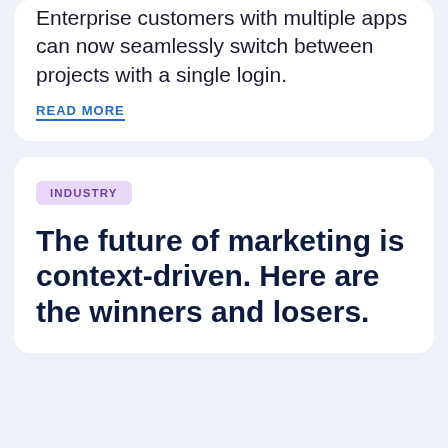Enterprise customers with multiple apps can now seamlessly switch between projects with a single login.
READ MORE
INDUSTRY
The future of marketing is context-driven. Here are the winners and losers.